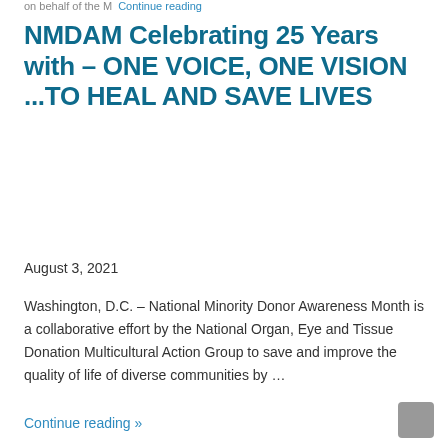on behalf of the M  Continue reading
NMDAM Celebrating 25 Years with – ONE VOICE, ONE VISION ...TO HEAL AND SAVE LIVES
August 3, 2021
Washington, D.C. – National Minority Donor Awareness Month is a collaborative effort by the National Organ, Eye and Tissue Donation Multicultural Action Group to save and improve the quality of life of diverse communities by …
Continue reading »